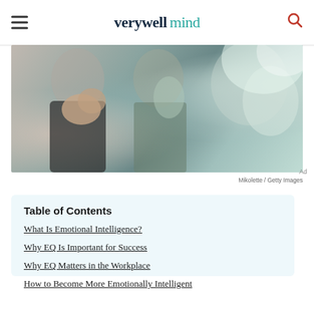verywell mind
[Figure (photo): People clapping and raising hands in a group setting, office/classroom environment]
Mikolette / Getty Images
Table of Contents
What Is Emotional Intelligence?
Why EQ Is Important for Success
Why EQ Matters in the Workplace
How to Become More Emotionally Intelligent